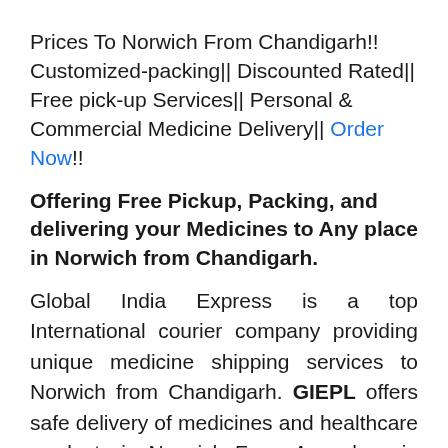Prices To Norwich From Chandigarh!! Customized-packing|| Discounted Rated|| Free pick-up Services|| Personal & Commercial Medicine Delivery|| Order Now!!
Offering Free Pickup, Packing, and delivering your Medicines to Any place in Norwich from Chandigarh.
Global India Express is a top International courier company providing unique medicine shipping services to Norwich from Chandigarh. GIEPL offers safe delivery of medicines and healthcare products in Norwich From Any place in Chandigarh. Essential and lifesaving medications available in Chandigarh can now be delivered to your doorstep through our medicine and